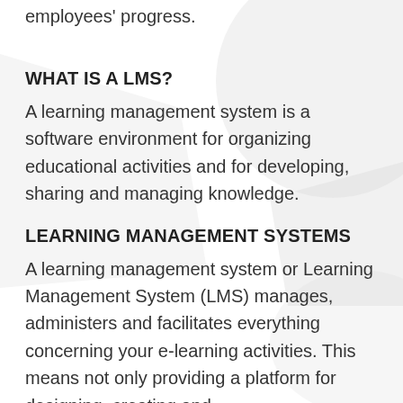employees' progress.
WHAT IS A LMS?
A learning management system is a software environment for organizing educational activities and for developing, sharing and managing knowledge.
LEARNING MANAGEMENT SYSTEMS
A learning management system or Learning Management System (LMS) manages, administers and facilitates everything concerning your e-learning activities. This means not only providing a platform for designing, creating and